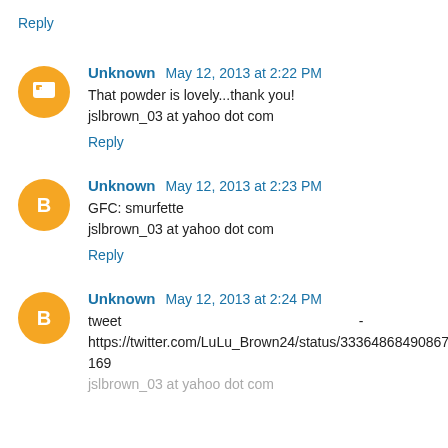Reply
Unknown May 12, 2013 at 2:22 PM
That powder is lovely...thank you!
jslbrown_03 at yahoo dot com
Reply
Unknown May 12, 2013 at 2:23 PM
GFC: smurfette
jslbrown_03 at yahoo dot com
Reply
Unknown May 12, 2013 at 2:24 PM
tweet - https://twitter.com/LuLu_Brown24/status/333648684908679
169
jslbrown_03 at yahoo dot com